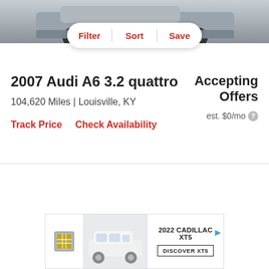[Figure (photo): Partial front view of a grey/silver car, showing bumper and wheels against a light background]
[Figure (screenshot): Filter bar UI with three buttons: Filter, Sort, Save on a white pill-shaped background]
2007 Audi A6 3.2 quattro
Accepting Offers
104,620 Miles | Louisville, KY
est. $0/mo
Track Price   Check Availability
[Figure (photo): Advertisement for 2022 Cadillac XT5 showing the vehicle in white, Cadillac logo, and a Discover XT5 button]